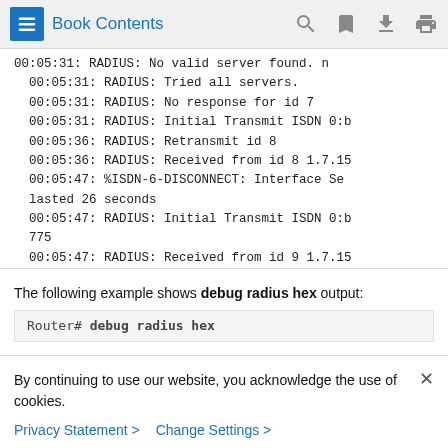Book Contents
00:05:31: RADIUS: No valid server found. n
00:05:31: RADIUS: Tried all servers.
00:05:31: RADIUS: No response for id 7
00:05:31: RADIUS: Initial Transmit ISDN 0:b
00:05:36: RADIUS: Retransmit id 8
00:05:36: RADIUS: Received from id 8 1.7.15
00:05:47: %ISDN-6-DISCONNECT: Interface Se
lasted 26 seconds
00:05:47: RADIUS: Initial Transmit ISDN 0:b
775
00:05:47: RADIUS: Received from id 9 1.7.15
The following example shows debug radius hex output:
Router# debug radius hex
By continuing to use our website, you acknowledge the use of cookies.
Privacy Statement > Change Settings >